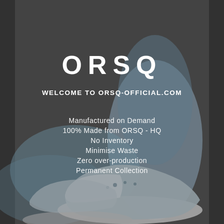[Figure (photo): Background photo of person wearing light blue sneakers and denim jacket, seated, with shoes prominently visible. Dark grey overlay.]
ORSQ
WELCOME TO ORSQ-OFFICIAL.COM
Manufactured on Demand
100% Made from ORSQ - HQ
No Inventory
Minimise Waste
Zero over-production
Permanent Collection